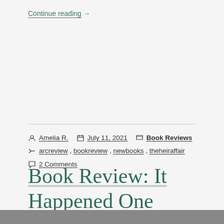Continue reading →
Post author: Amelia R.   Post date: July 11, 2021   Post categories: Book Reviews   Tags: arcreview, bookreview, newbooks, theheiraffair   2 Comments
Book Review: It Happened One Summer by Tessa Bailey